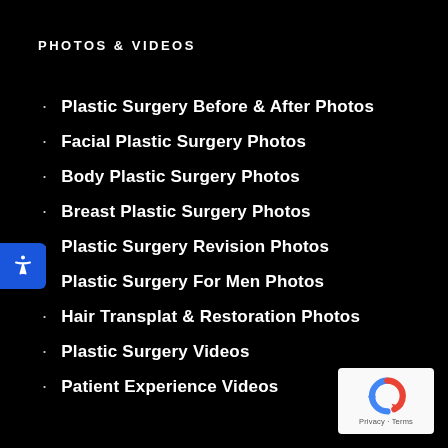PHOTOS & VIDEOS
Plastic Surgery Before & After Photos
Facial Plastic Surgery Photos
Body Plastic Surgery Photos
Breast Plastic Surgery Photos
Plastic Surgery Revision Photos
Plastic Surgery For Men Photos
Hair Transplat & Restoration Photos
Plastic Surgery Videos
Patient Experience Videos
[Figure (logo): Google reCAPTCHA badge with privacy and terms text]